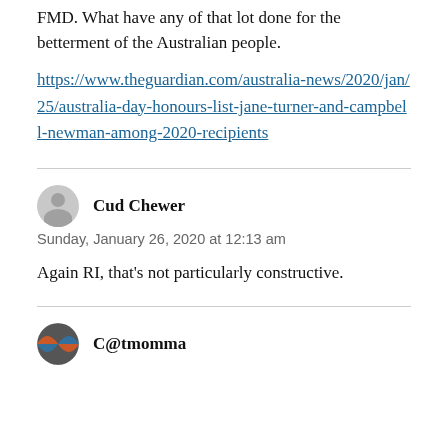FMD. What have any of that lot done for the betterment of the Australian people.
https://www.theguardian.com/australia-news/2020/jan/25/australia-day-honours-list-jane-turner-and-campbell-newman-among-2020-recipients
Cud Chewer
Sunday, January 26, 2020 at 12:13 am
Again RI, that’s not particularly constructive.
C@tmomma